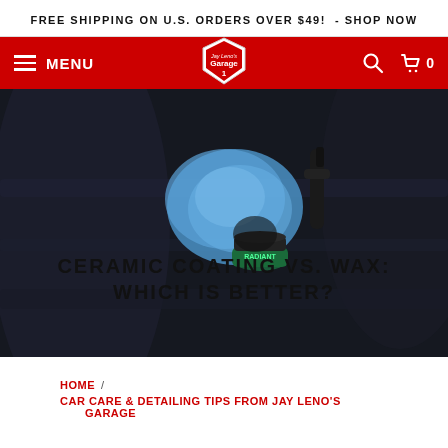FREE SHIPPING ON U.S. ORDERS OVER $49! - SHOP NOW
[Figure (screenshot): Red navigation bar with hamburger menu icon, MENU text, Jay Leno's Garage shield logo in center, search icon and cart icon with 0 count on right]
[Figure (photo): Dark hero image showing car care products including a blue microfiber cloth, spray bottle, and Radiant product jar on a dark car surface with text overlay reading CERAMIC COATING VS. WAX: WHICH IS BETTER?]
CERAMIC COATING VS. WAX: WHICH IS BETTER?
HOME / CAR CARE & DETAILING TIPS FROM JAY LENO'S GARAGE